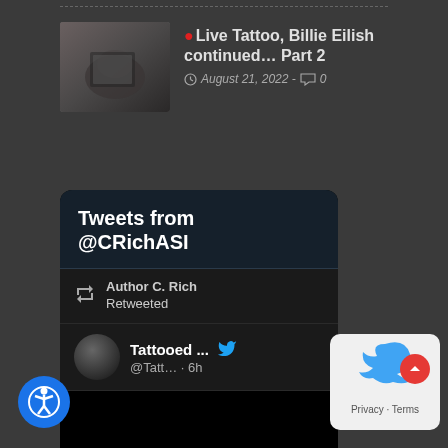[Figure (screenshot): Thumbnail image of a hand with tattoo artwork being created]
🔴Live Tattoo, Billie Eilish continued… Part 2
August 21, 2022 - 💬 0
[Figure (screenshot): Twitter widget showing Tweets from @CRichASI with a retweet from Author C. Rich of Tattooed ... @Tatt... · 6h]